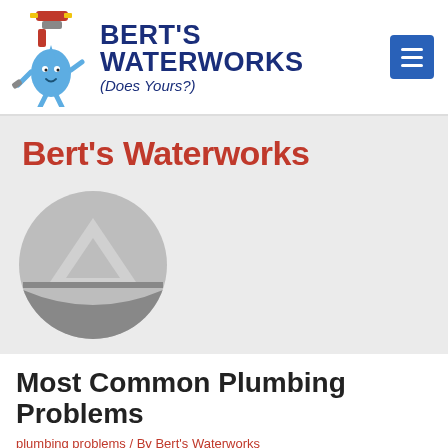[Figure (logo): Bert's Waterworks logo: cartoon faucet with water drop character holding a wrench, next to bold blue text BERT'S WATERWORKS with italic tagline (Does Yours?)]
[Figure (logo): Blue hamburger/menu button with three white horizontal lines]
Bert's Waterworks
[Figure (logo): Gray circular logo with stylized mountain/arrow shape in lighter gray, bottom half darker gray]
Most Common Plumbing Problems
plumbing problems / By Bert's Waterworks